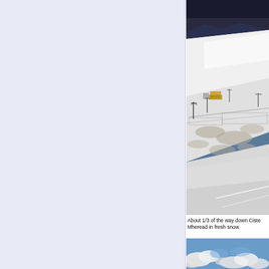[Figure (photo): Snow-covered hillside ski area showing ski lift poles, fencing, and partially snow-covered terrain with dark mountains in background. Ciste Mheread ski area in fresh snow.]
About 1/3 of the way down Ciste Mheread in fresh snow.
[Figure (photo): Blue sky with white clouds, bottom of second photo visible.]